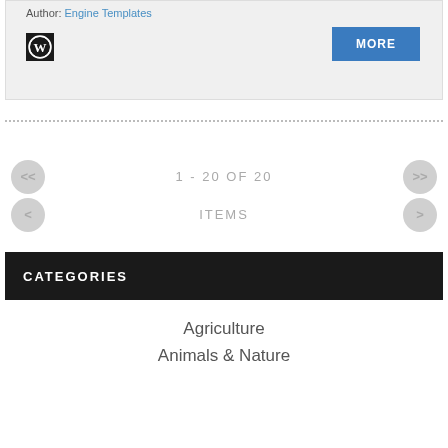Author: Engine Templates
[Figure (logo): WordPress logo icon, black square with white W circle mark]
MORE
1 - 20 OF 20
ITEMS
CATEGORIES
Agriculture
Animals & Nature